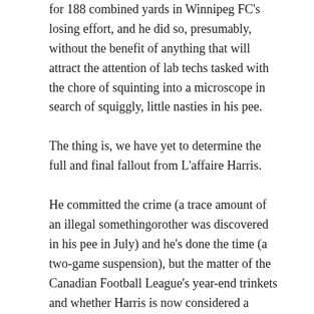for 188 combined yards in Winnipeg FC's losing effort, and he did so, presumably, without the benefit of anything that will attract the attention of lab techs tasked with the chore of squinting into a microscope in search of squiggly, little nasties in his pee.
The thing is, we have yet to determine the full and final fallout from L'affaire Harris.
He committed the crime (a trace amount of an illegal somethingorother was discovered in his pee in July) and he's done the time (a two-game suspension), but the matter of the Canadian Football League's year-end trinkets and whether Harris is now considered a pigskin pariah is yet to be determined.